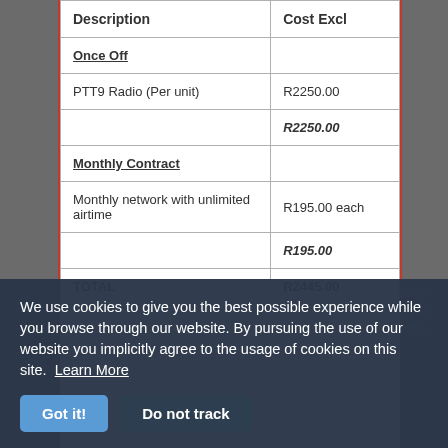| Description | Cost Excl |
| --- | --- |
| Once Off |  |
| PTT9 Radio (Per unit) | R2250.00 |
|  | R2250.00 |
| Monthly Contract |  |
| Monthly network with unlimited airtime | R195.00 each |
|  | R195.00 |
| TOTAL | R2445.00 |
We use cookies to give you the best possible experience while you browse through our website. By pursuing the use of our website you implicitly agree to the usage of cookies on this site. Learn More